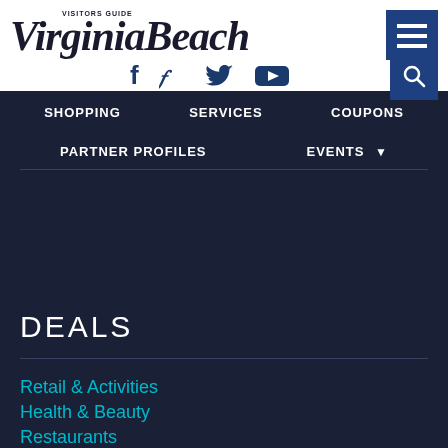[Figure (logo): Virginia Beach Visitors Guide logo in serif italic font]
[Figure (infographic): Navigation menu button (hamburger icon) in dark blue square]
[Figure (infographic): Social media icons: Facebook (f), Twitter (bird), YouTube (play button) in dark blue]
[Figure (infographic): Search button with magnifying glass icon in dark blue square]
SHOPPING   SERVICES   COUPONS
PARTNER PROFILES   EVENTS
DEALS
Retail & Activities
Health & Beauty
Restaurants